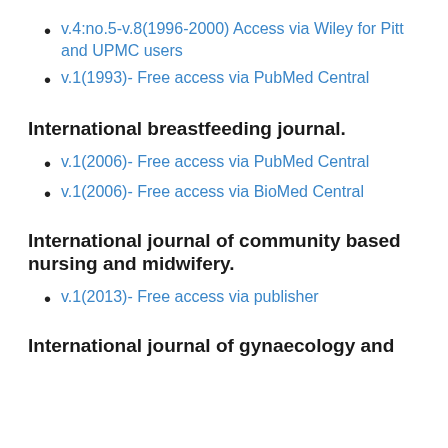v.4:no.5-v.8(1996-2000) Access via Wiley for Pitt and UPMC users
v.1(1993)- Free access via PubMed Central
International breastfeeding journal.
v.1(2006)- Free access via PubMed Central
v.1(2006)- Free access via BioMed Central
International journal of community based nursing and midwifery.
v.1(2013)- Free access via publisher
International journal of gynaecology and